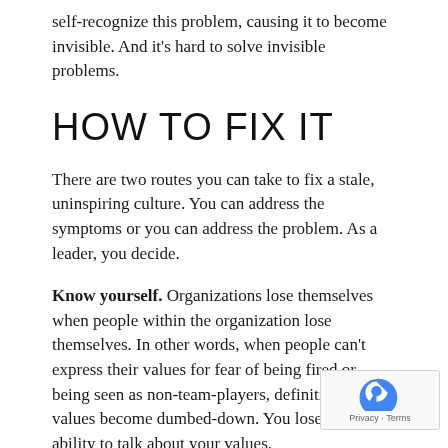self-recognize this problem, causing it to become invisible. And it's hard to solve invisible problems.
HOW TO FIX IT
There are two routes you can take to fix a stale, uninspiring culture. You can address the symptoms or you can address the problem. As a leader, you decide.
Know yourself. Organizations lose themselves when people within the organization lose themselves. In other words, when people can't express their values for fear of being fired or being seen as non-team-players, definitions and values become dumbed-down. You lose your ability to talk about your values.
Talk about your strengths often. Look for